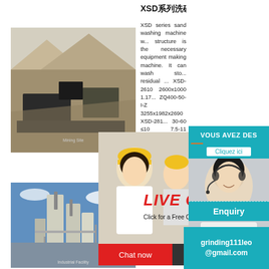XSD系列洗砂机 - shunky.cn
[Figure (photo): Outdoor mining/crushing site with stone aggregates and heavy equipment]
XSD series sand washing machine w... structure is the necessary equipment making machine. It can wash sto... residual ... XSD-2610 2600x1000 1.17... ZQ400-50-I-Z 3255x1982x2690 XSD-281... 30-60 ≤10 7.5-11 ZQ650-50-I-Z 3540x30... 3000x1600 1.179 50-120
[Figure (photo): Live chat popup with construction workers in hard hats and text 'LIVE CHAT - Click for a Free Consultation']
[Figure (photo): Industrial facility with tall silos and metal structures against blue sky]
Machine
Economic W... Machine for A... od... 2610) FOB Pri... Pi... Piece
[Figure (photo): Right side panel showing operator with headset, ENLIGNE banner, VOUS AVEZ DES section with Cliquez ici button, Enquiry, and grinding111leo@gmail.com contact]
VOUS AVEZ DES
Cliquez ici
Enquiry
grinding111leo @gmail.com